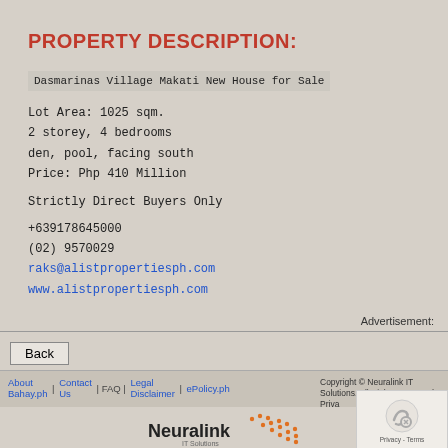PROPERTY DESCRIPTION:
Dasmarinas Village Makati New House for Sale
Lot Area: 1025 sqm.
2 storey, 4 bedrooms
den, pool, facing south
Price: Php 410 Million
Strictly Direct Buyers Only
+639178645000
(02) 9570029
raks@alistpropertiesph.com
www.alistpropertiesph.com
Advertisement:
Back
About Bahay.ph | Contact Us | FAQ | Legal Disclaimer | ePolicy.ph | Copyright © Neuralink IT Solutions. All Rights Reserved. Priva...
[Figure (logo): Neuralink IT Solutions logo with dot pattern]